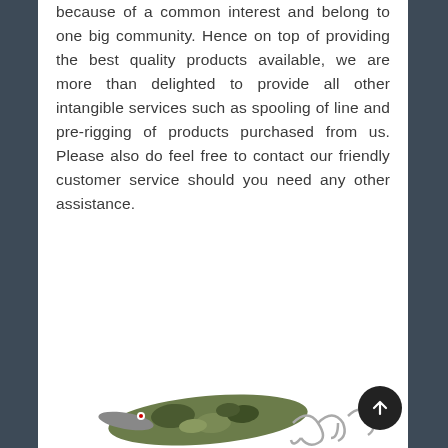because of a common interest and belong to one big community. Hence on top of providing the best quality products available, we are more than delighted to provide all other intangible services such as spooling of line and pre-rigging of products purchased from us. Please also do feel free to contact our friendly customer service should you need any other assistance.
Delivery will take about 7-14 working days by USPS
[Figure (photo): Camouflage fishing lure with treble hooks, partially visible at bottom of page]